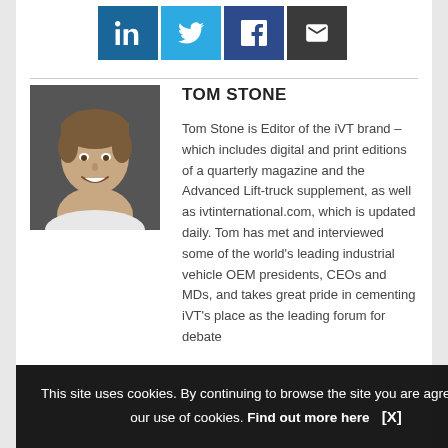[Figure (infographic): Social share button row with LinkedIn (blue), Twitter (light blue), Facebook (dark blue), and Email (dark grey) icons]
[Figure (photo): Headshot photo of Tom Stone, a young man with brown hair, smiling, wearing a white shirt, against a dark background]
TOM STONE
Tom Stone is Editor of the iVT brand – which includes digital and print editions of a quarterly magazine and the Advanced Lift-truck supplement, as well as ivtinternational.com, which is updated daily. Tom has met and interviewed some of the world's leading industrial vehicle OEM presidents, CEOs and MDs, and takes great pride in cementing iVT's place as the leading forum for debate
This site uses cookies. By continuing to browse the site you are agreeing to our use of cookies. Find out more here    [X]